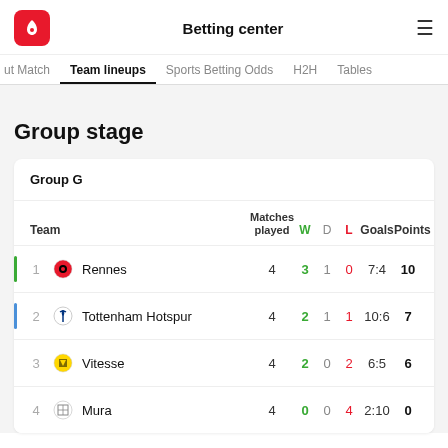Betting center
ut Match  Team lineups  Sports Betting Odds  H2H  Tables
Group stage
| Team | Matches played | W | D | L | Goals | Points |
| --- | --- | --- | --- | --- | --- | --- |
| 1 | Rennes | 4 | 3 | 1 | 0 | 7:4 | 10 |
| 2 | Tottenham Hotspur | 4 | 2 | 1 | 1 | 10:6 | 7 |
| 3 | Vitesse | 4 | 2 | 0 | 2 | 6:5 | 6 |
| 4 | Mura | 4 | 0 | 0 | 4 | 2:10 | 0 |